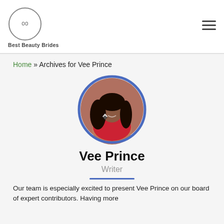Best Beauty Brides
Home » Archives for Vee Prince
[Figure (photo): Circular profile photo of Vee Prince, a woman with long dark hair wearing a red top, framed by a blue-purple circular border.]
Vee Prince
Writer
Our team is especially excited to present Vee Prince on our board of expert contributors. Having more